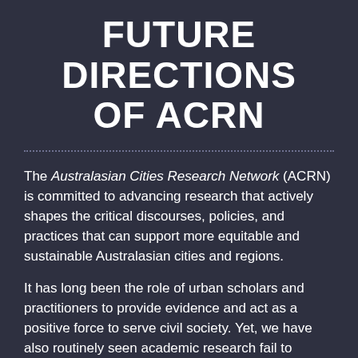FUTURE DIRECTIONS OF ACRN
The Australasian Cities Research Network (ACRN) is committed to advancing research that actively shapes the critical discourses, policies, and practices that can support more equitable and sustainable Australasian cities and regions.
It has long been the role of urban scholars and practitioners to provide evidence and act as a positive force to serve civil society. Yet, we have also routinely seen academic research fail to influence policy and policymakers. Furthermore, our research has largely